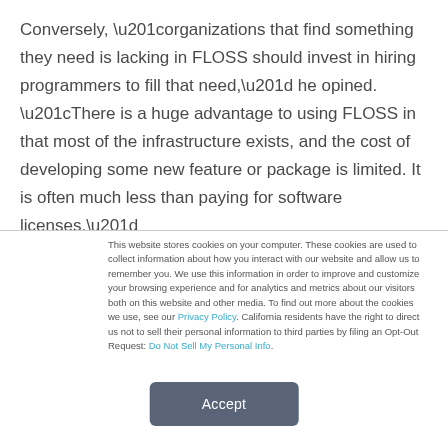Conversely, “organizations that find something they need is lacking in FLOSS should invest in hiring programmers to fill that need,” he opined. “There is a huge advantage to using FLOSS in that most of the infrastructure exists, and the cost of developing some new feature or package is limited. It is often much less than paying for software licenses.”
This website stores cookies on your computer. These cookies are used to collect information about how you interact with our website and allow us to remember you. We use this information in order to improve and customize your browsing experience and for analytics and metrics about our visitors both on this website and other media. To find out more about the cookies we use, see our Privacy Policy. California residents have the right to direct us not to sell their personal information to third parties by filing an Opt-Out Request: Do Not Sell My Personal Info.